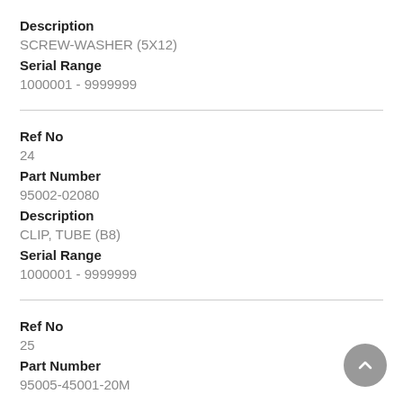Description
SCREW-WASHER (5X12)
Serial Range
1000001 - 9999999
Ref No
24
Part Number
95002-02080
Description
CLIP, TUBE (B8)
Serial Range
1000001 - 9999999
Ref No
25
Part Number
95005-45001-20M